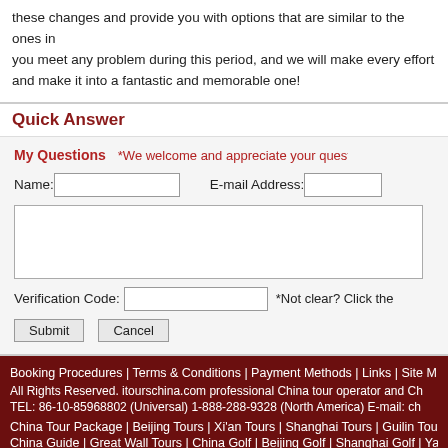these changes and provide you with options that are similar to the ones in you meet any problem during this period, and we will make every effort and make it into a fantastic and memorable one!
Quick Answer
My Questions   *We welcome and appreciate your questions &
Name:   E-mail Address:
Verification Code:   *Not clear? Click the
Submit   Cancel
Booking Procedures | Terms & Conditions | Payment Methods | Links | Site M All Rights Reserved. itourschina.com professional China tour operator and Ch TEL: 86-10-85968802 (Universal) 1-888-288-9328 (North America) E-mail: ch China Tour Package | Beijing Tours | Xi'an Tours | Shanghai Tours | Guilin Tou China Guide | Great Wall Tours | China Golf | Beijing Golf | Shanghai Golf | Ya